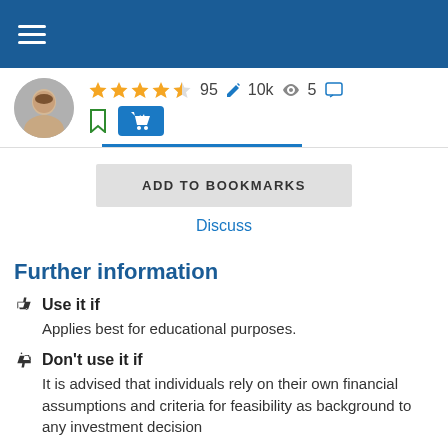Navigation menu bar
[Figure (screenshot): User profile area with avatar, star rating (4.5 stars), count 95 with edit icon, 10k with eye icon, 5 with chat icon, bookmark icon, and shopping cart button]
ADD TO BOOKMARKS
Discuss
Further information
Use it if
Applies best for educational purposes.
Don't use it if
It is advised that individuals rely on their own financial assumptions and criteria for feasibility as background to any investment decision